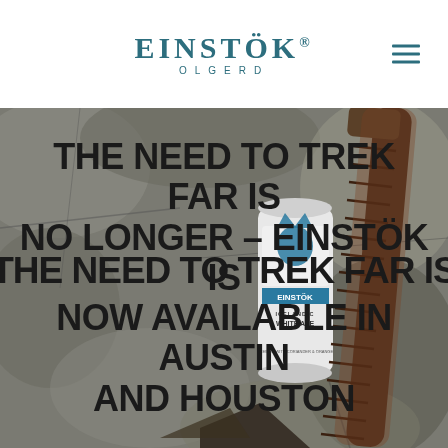EINSTÖK OLGERD
[Figure (photo): Background photo of rocky Icelandic terrain with an Einstök Icelandic White Ale beer can and a weathered metal tool (anchor or similar) resting on dark stones. Overlaid in large bold dark text: THE NEED TO TREK FAR IS NO LONGER – EINSTÖK IS NOW AVAILABLE IN AUSTIN AND HOUSTON]